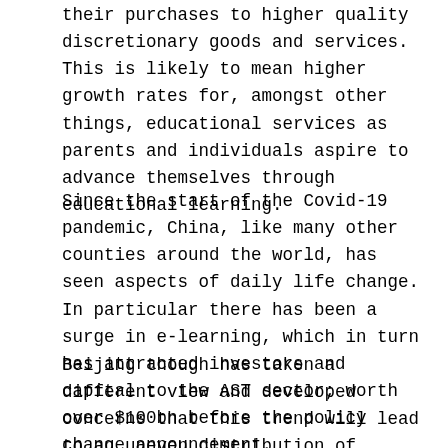their purchases to higher quality discretionary goods and services. This is likely to mean higher growth rates for, amongst other things, educational services as parents and individuals aspire to advance themselves through educational learning.
Since the start of the Covid-19 pandemic, China, like many other counties around the world, has seen aspects of daily life change. In particular there has been a surge in e-learning, which in turn has attracted investors and capital to the AST sector; worth over $100bn before the policy change announcement.
Beijing though has taken a different view and developed concerns that this trend will lead to an uneven distribution of education resources between urban and rural areas and that vocational training is